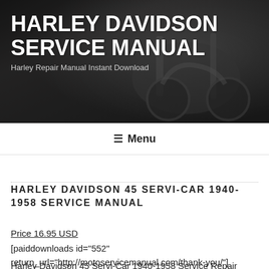[Figure (photo): Dark header banner showing a Harley Davidson motorcycle against a brick wall background]
HARLEY DAVIDSON SERVICE MANUAL
Harley Repair Manual Instant Download
≡ Menu
HARLEY DAVIDSON 45 SERVI-CAR 1940-1958 SERVICE MANUAL
Price 16.95 USD
[paiddownloads id="552" return_url="http://motoservicemanual.com/thank-you/"]
Harley Davidson 45 Servi-Car 1940-1958 Service Repair